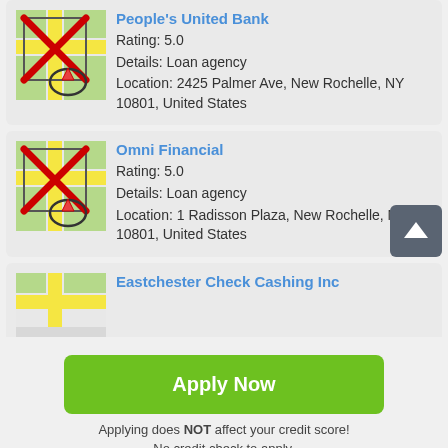[Figure (screenshot): Map thumbnail with red X overlay and circled location pin for People's United Bank]
People's United Bank
Rating: 5.0
Details: Loan agency
Location: 2425 Palmer Ave, New Rochelle, NY 10801, United States
[Figure (screenshot): Map thumbnail with red X overlay and circled location pin for Omni Financial]
Omni Financial
Rating: 5.0
Details: Loan agency
Location: 1 Radisson Plaza, New Rochelle, NY 10801, United States
[Figure (screenshot): Partial map thumbnail for Eastchester Check Cashing Inc]
Eastchester Check Cashing Inc
Apply Now
Applying does NOT affect your credit score!
No credit check to apply.